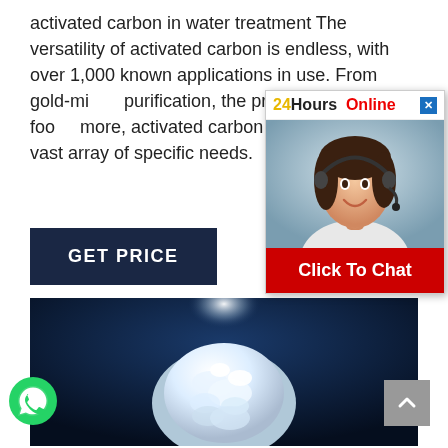activated carbon in water treatment The versatility of activated carbon is endless, with over 1,000 known applications in use. From gold-mi... purification, the production of foo... more, activated carbon can be cu... vast array of specific needs.
GET PRICE
[Figure (infographic): Chat popup with '24Hours Online' header, photo of smiling woman with headset, and 'Click To Chat' red button]
[Figure (photo): White powder substance in an oval/egg shape against a dark navy blue background with a bright light source at top]
[Figure (logo): Green WhatsApp icon circle at bottom left]